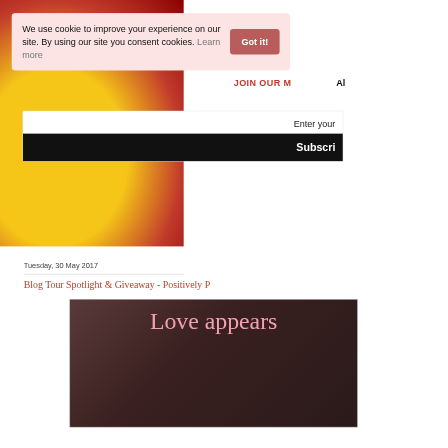[Figure (screenshot): Website screenshot showing a cookie consent banner overlaying a blog page. The cookie banner has a pink background with text 'We use cookie to improve your experience on our site. By using our site you consent cookies. Learn more' and a red 'Got it!' button. Below is a subscribe section with 'Enter your' text and a black 'Subscri' button. The lower portion shows a blog with date 'Tuesday, 30 May 2017', title 'Blog Tour Spotlight & Giveaway - Positively P' and a book cover image with pink text 'Love appears' on a dark background.]